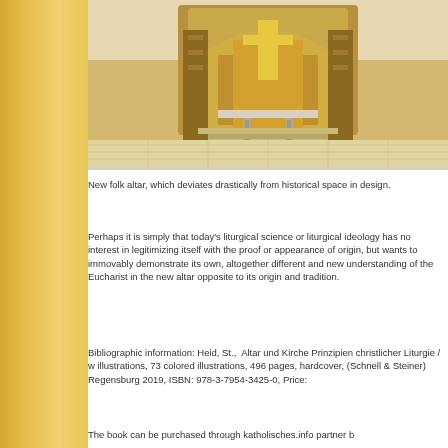[Figure (photo): Interior of a church showing an ornate baroque altar with golden decorations in the background, and a simple modern folk altar table in the foreground]
New folk altar, which deviates drastically from historical space in design.
Perhaps it is simply that today's liturgical science or liturgical ideology has no interest in legitimizing itself with the proof or appearance of origin, but wants to immovably demonstrate its own, altogether different and new understanding of the Eucharist in the new altar opposite to its origin and tradition.
Bibliographic information: Heid, St.,  Altar und Kirche Prinzipien christlicher Liturgie / w illustrations, 73 colored illustrations, 496 pages, hardcover, (Schnell & Steiner) Regensburg 2019, ISBN: 978-3-7954-3425-0, Price:
The book can be purchased through katholisches.info partner b